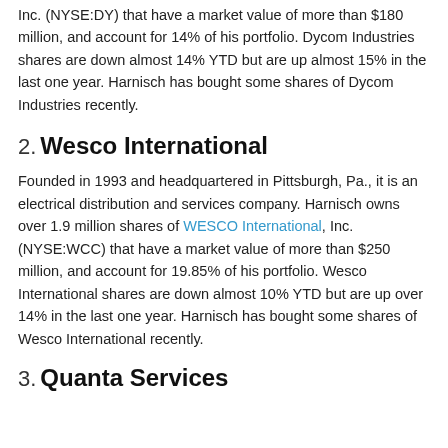Inc. (NYSE:DY) that have a market value of more than $180 million, and account for 14% of his portfolio. Dycom Industries shares are down almost 14% YTD but are up almost 15% in the last one year. Harnisch has bought some shares of Dycom Industries recently.
2. Wesco International
Founded in 1993 and headquartered in Pittsburgh, Pa., it is an electrical distribution and services company. Harnisch owns over 1.9 million shares of WESCO International, Inc. (NYSE:WCC) that have a market value of more than $250 million, and account for 19.85% of his portfolio. Wesco International shares are down almost 10% YTD but are up over 14% in the last one year. Harnisch has bought some shares of Wesco International recently.
3. Quanta Services